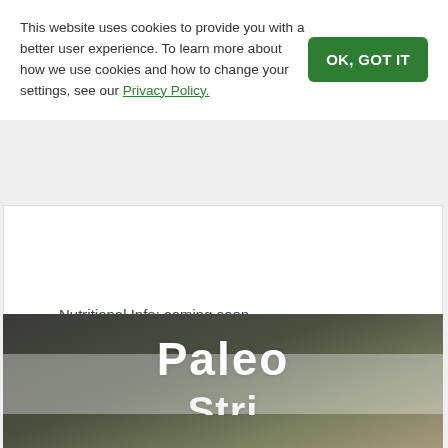This website uses cookies to provide you with a better user experience. To learn more about how we use cookies and how to change your settings, see our Privacy Policy.
OK, GOT IT
Nutritional Info: coming soon
[Figure (photo): Paleo food image with large white text 'Paleo' and partial text below, dark blurred food background]